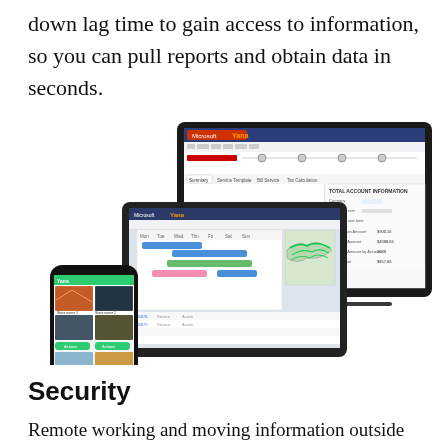down lag time to gain access to information, so you can pull reports and obtain data in seconds.
[Figure (screenshot): Three devices (laptop, tablet, smartphone) showing a software application interface with scheduling, mapping, and reporting screens — the Yana platform by Microsoft.]
Security
Remote working and moving information outside the